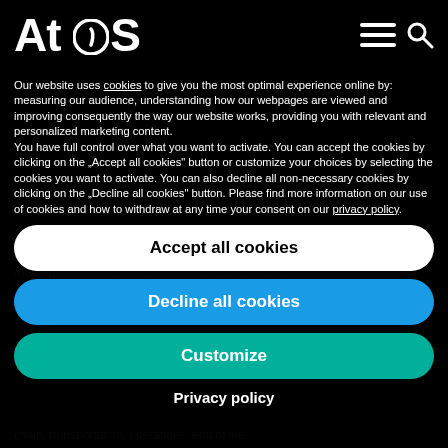[Figure (logo): Atos logo in white text on black background with hamburger menu and search icon]
Our website uses cookies to give you the most optimal experience online by: measuring our audience, understanding how our webpages are viewed and improving consequently the way our website works, providing you with relevant and personalized marketing content.
You have full control over what you want to activate. You can accept the cookies by clicking on the „Accept all cookies" button or customize your choices by selecting the cookies you want to activate. You can also decline all non-necessary cookies by clicking on the „Decline all cookies" button. Please find more information on our use of cookies and how to withdraw at any time your consent on our privacy policy.
Accept all cookies
Decline all cookies
Customize
Privacy policy